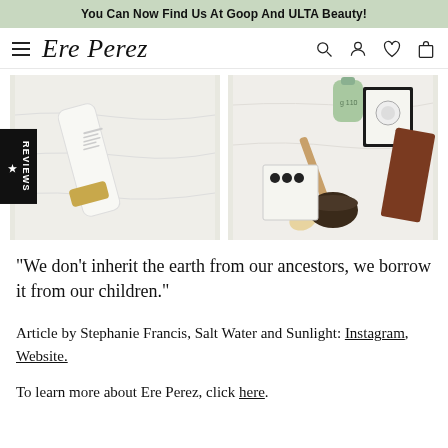You Can Now Find Us At Goop And ULTA Beauty!
[Figure (screenshot): Navigation bar with hamburger menu, Ere Perez cursive logo, and icons for search, account, wishlist, and shopping bag]
[Figure (photo): Left photo: a white beauty tube product lying on white fabric. Right photo: various eco/natural beauty and wellness products laid out on white surface including brushes, packaging, and containers]
"We don't inherit the earth from our ancestors, we borrow it from our children."
Article by Stephanie Francis, Salt Water and Sunlight: Instagram, Website.
To learn more about Ere Perez, click here.